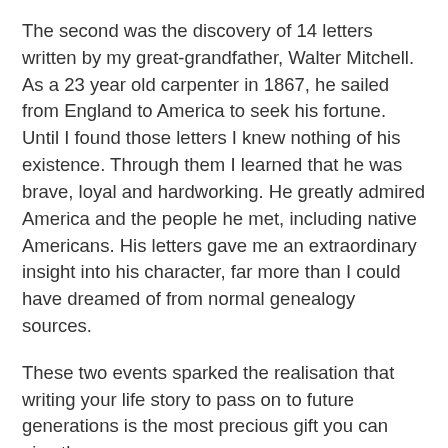The second was the discovery of 14 letters written by my great-grandfather, Walter Mitchell. As a 23 year old carpenter in 1867, he sailed from England to America to seek his fortune. Until I found those letters I knew nothing of his existence. Through them I learned that he was brave, loyal and hardworking. He greatly admired America and the people he met, including native Americans. His letters gave me an extraordinary insight into his character, far more than I could have dreamed of from normal genealogy sources.
These two events sparked the realisation that writing your life story to pass on to future generations is the most precious gift you can give them.
But I also realised that this is very difficult for people to start, let alone finish!